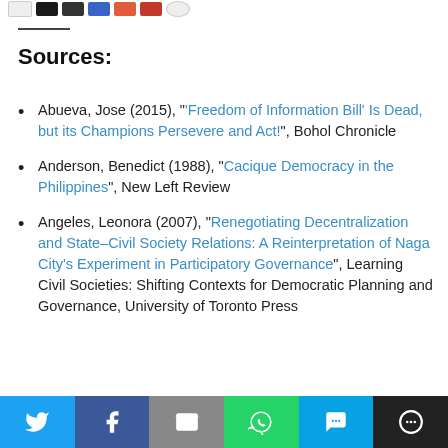Sources:
Abueva, Jose (2015), "'Freedom of Information Bill' Is Dead, but its Champions Persevere and Act!", Bohol Chronicle
Anderson, Benedict (1988), "Cacique Democracy in the Philippines", New Left Review
Angeles, Leonora (2007), "Renegotiating Decentralization and State–Civil Society Relations: A Reinterpretation of Naga City's Experiment in Participatory Governance", Learning Civil Societies: Shifting Contexts for Democratic Planning and Governance, University of Toronto Press
Social share bar: Twitter, Facebook, Email, WhatsApp, SMS, More